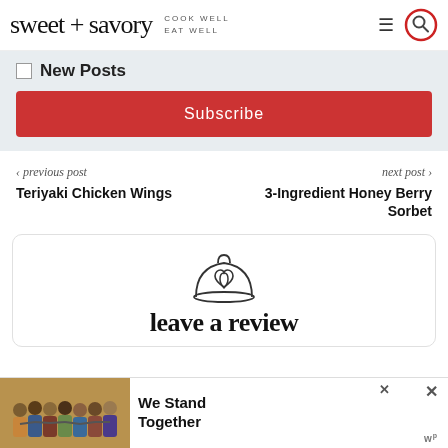sweet + savory — COOK WELL EAT WELL
New Posts
Subscribe
< previous post — Teriyaki Chicken Wings
next post > — 3-Ingredient Honey Berry Sorbet
[Figure (illustration): Cloche dish cover with heart icon, above 'leave a review' heading]
leave a review
[Figure (photo): Advertisement banner: group of people with arms around each other, text 'We Stand Together']